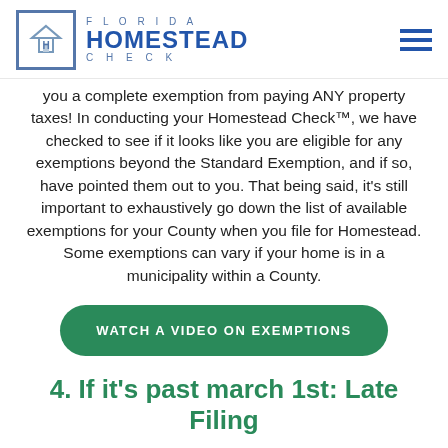FLORIDA HOMESTEAD CHECK
you a complete exemption from paying ANY property taxes! In conducting your Homestead Check™, we have checked to see if it looks like you are eligible for any exemptions beyond the Standard Exemption, and if so, have pointed them out to you. That being said, it's still important to exhaustively go down the list of available exemptions for your County when you file for Homestead. Some exemptions can vary if your home is in a municipality within a County.
WATCH A VIDEO ON EXEMPTIONS
4. If it's past march 1st: Late Filing